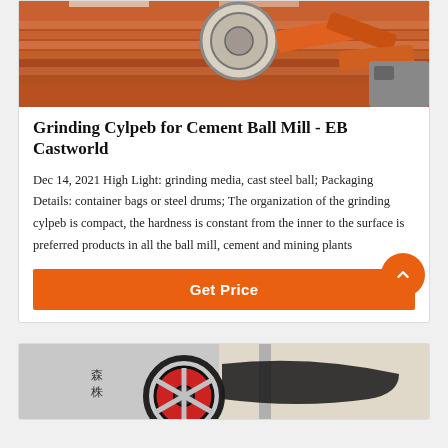[Figure (photo): Industrial grinding mill machinery with orange metal components and large circular grinding mechanism]
Grinding Cylpeb for Cement Ball Mill - EB Castworld
Dec 14, 2021 High Light: grinding media, cast steel ball; Packaging Details: container bags or steel drums; The organization of the grinding cylpeb is compact, the hardness is constant from the inner to the surface is preferred products in all the ball mill, cement and mining plants
Get Price
[Figure (photo): Industrial ball mill machinery in black and white showing large gear wheel mechanism]